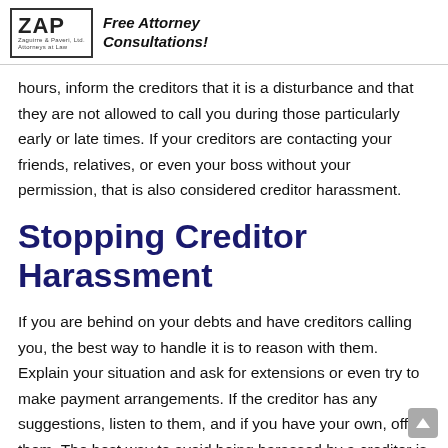ZAP Free Attorney Consultations!
hours, inform the creditors that it is a disturbance and that they are not allowed to call you during those particularly early or late times. If your creditors are contacting your friends, relatives, or even your boss without your permission, that is also considered creditor harassment.
Stopping Creditor Harassment
If you are behind on your debts and have creditors calling you, the best way to handle it is to reason with them. Explain your situation and ask for extensions or even try to make payment arrangements. If the creditor has any suggestions, listen to them, and if you have your own, offer them. The best way to avoid being harassed by a creditor is to work it out as